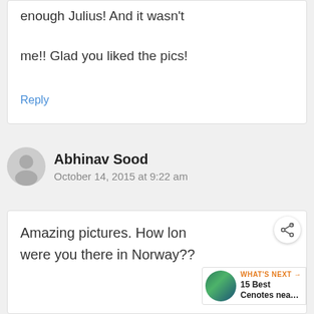enough Julius! And it wasn't me!! Glad you liked the pics!
Reply
Abhinav Sood
October 14, 2015 at 9:22 am
Amazing pictures. How long were you there in Norway??